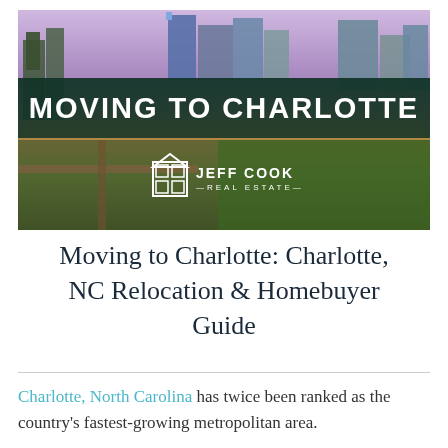[Figure (photo): Aerial photo of Charlotte, NC skyline at dusk/dawn with a dark teal banner overlay reading MOVING TO CHARLOTTE and Jeff Cook Real Estate logo below]
Moving to Charlotte: Charlotte, NC Relocation & Homebuyer Guide
Charlotte, North Carolina has twice been ranked as the country's fastest-growing metropolitan area.